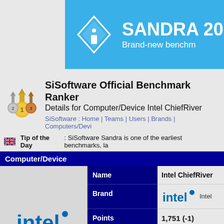[Figure (logo): SANDRA 20 brand-new benchmark banner with blue background and diamond info icon]
SiSoftware Official Benchmark Ranker
Details for Computer/Device Intel ChiefRiver
SiSoftware : Home | Teams | Users | Brands | Computers/Devi
Tip of the Day : SiSoftware Sandra is one of the earliest benchmarks, la
Computer/Device
|  | Field | Value |
| --- | --- | --- |
| Intel logo / Intel ChiefRiver | Name | Intel ChiefRiver |
|  | Brand | intel Intel |
|  | Points | 1,751 (-1) |
|  | Platform | Laptop/Netbook |
|  | Price | Best Price for I |
|  | Status | Active |